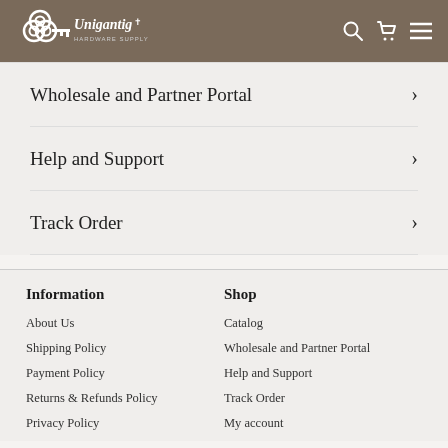Unigantig Hardware Supply
Wholesale and Partner Portal
Help and Support
Track Order
Information
Shop
About Us
Catalog
Shipping Policy
Wholesale and Partner Portal
Payment Policy
Help and Support
Returns & Refunds Policy
Track Order
Privacy Policy
My account